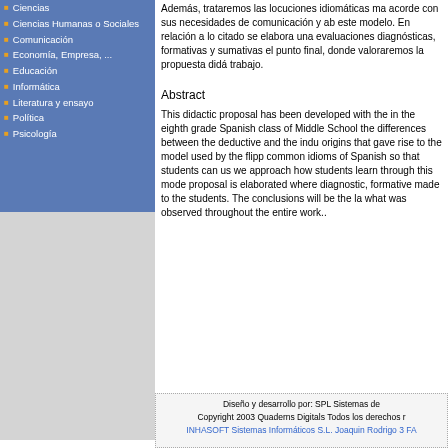Ciencias
Ciencias Humanas o Sociales
Comunicación
Economía, Empresa, ...
Educación
Informática
Literatura y ensayo
Política
Psicología
Además, trataremos las locuciones idiomáticas ma acorde con sus necesidades de comunicación y ab este modelo. En relación a lo citado se elabora una evaluaciones diagnósticas, formativas y sumativas el punto final, donde valoraremos la propuesta didá trabajo.
Abstract
This didactic proposal has been developed with the in the eighth grade Spanish class of Middle School the differences between the deductive and the indu origins that gave rise to the model used by the flipp common idioms of Spanish so that students can us we approach how students learn through this mode proposal is elaborated where diagnostic, formative made to the students. The conclusions will be the la what was observed throughout the entire work..
Diseño y desarrollo por: SPL Sistemas de
Copyright 2003 Quaderns Digitals Todos los derechos r
INHASOFT Sistemas Informáticos S.L. Joaquin Rodrigo 3 FA